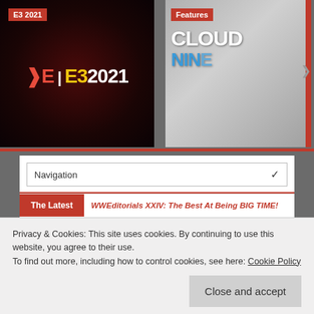[Figure (screenshot): E3 2021 banner with red background showing E3 2021 logo]
[Figure (screenshot): Features banner showing Cloud Nine with grey/smoke background]
Navigation
The Latest  WWEditorials XXIV: The Best At Being BIG TIME!
Godzilla ‘Resurgence’: Teaser & Poster!
Privacy & Cookies: This site uses cookies. By continuing to use this website, you agree to their use.
To find out more, including how to control cookies, see here: Cookie Policy
Close and accept